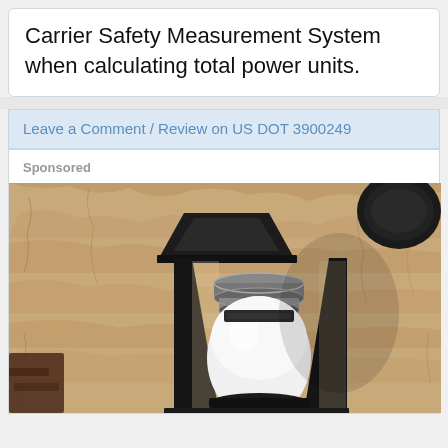Carrier Safety Measurement System when calculating total power units.
Leave a Comment / Review on US DOT 3900249
Sponsored
[Figure (photo): An outdoor wall-mounted lantern-style light fixture with a black metal frame and frosted/white bulb, mounted on a textured stone or stucco wall. Close-up photo.]